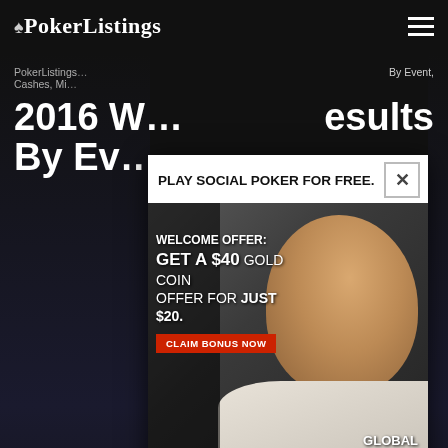PokerListings
PokerListings … By Event, Cashes, Mi…
2016 W… esults By Ev…
[Figure (photo): Advertisement overlay: Global Poker social poker ad. 'PLAY SOCIAL POKER FOR FREE.' Welcome offer: GET A $40 GOLD COIN OFFER FOR JUST $20. CLAIM BONUS NOW button. Photo of smiling man. Global Poker logo. Fine print: NO PURCHASE NECESSARY, YGW Group, void where prohibited by law, see T&Cs, 18+, offer available to new customers only.]
P… Poker Listings
June 16…
The largest number of participants ever.
The third-most money ever awarded. The most bracelets in one series. Twenty-three players who cashed for over $1m.